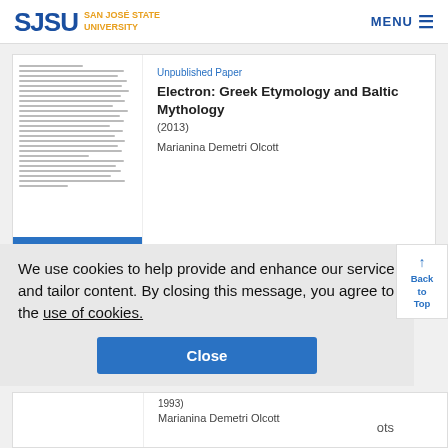SJSU SAN JOSÉ STATE UNIVERSITY | MENU
Unpublished Paper
Electron: Greek Etymology and Baltic Mythology
(2013)
Marianina Demetri Olcott
We use cookies to help provide and enhance our service and tailor content. By closing this message, you agree to the use of cookies.
Close
Back to Top
1993)
Marianina Demetri Olcott